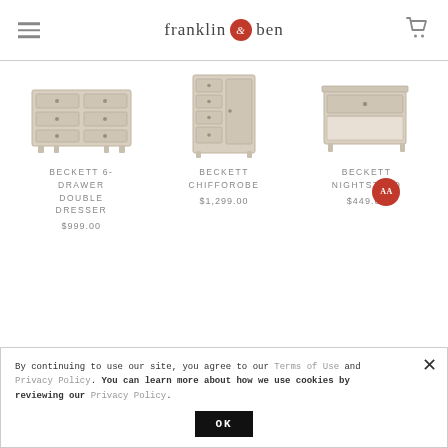franklin & ben
[Figure (photo): Beckett 6-Drawer Double Dresser - light wood dresser with six drawers]
BECKETT 6-DRAWER DOUBLE DRESSER
$999.00
[Figure (photo): Beckett Chifforobe - light wood chifforobe with drawers and door]
BECKETT CHIFFOROBE
$1,299.00
[Figure (photo): Beckett Nightstand - light wood nightstand with drawer and open shelf]
BECKETT NIGHTSTAND
$449.00
By continuing to use our site, you agree to our Terms of Use and Privacy Policy. You can learn more about how we use cookies by reviewing our Privacy Policy.
OK